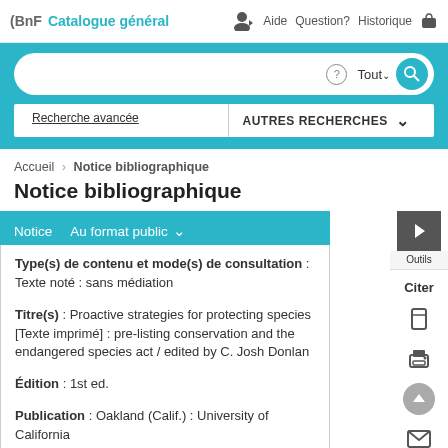(BnF  Catalogue général  Aide  Question?  Historique
[Figure (screenshot): BnF Catalogue général search bar with Tout dropdown and search icon, Recherche avancée and AUTRES RECHERCHES options]
Accueil › Notice bibliographique
Notice bibliographique
Notice  Au format public ˅
Type(s) de contenu et mode(s) de consultation : Texte noté : sans médiation
Titre(s) : Proactive strategies for protecting species [Texte imprimé] : pre-listing conservation and the endangered species act / edited by C. Josh Donlan
Édition : 1st ed.
Publication : Oakland (Calif.) : University of California